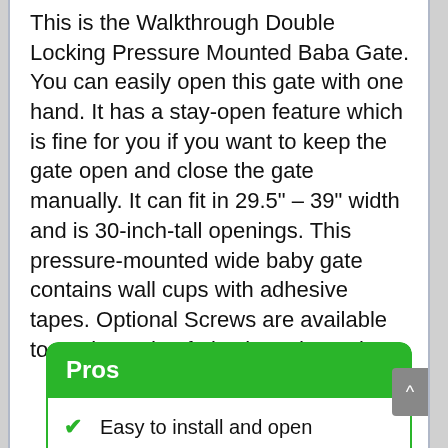This is the Walkthrough Double Locking Pressure Mounted Baba Gate. You can easily open this gate with one hand. It has a stay-open feature which is fine for you if you want to keep the gate open and close the gate manually. It can fit in 29.5" – 39" width and is 30-inch-tall openings. This pressure-mounted wide baby gate contains wall cups with adhesive tapes. Optional Screws are available too. It is made of plastic and metal.
Pros
Easy to install and open
Sturdy and Durable